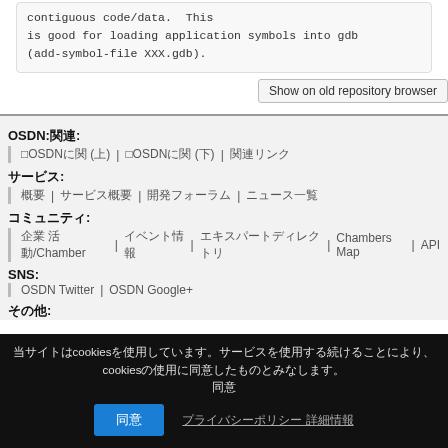contiguous code/data.  This is good for loading application symbols into gdb (add-symbol-file XXX.gdb).
Show on old repository browser
OSDN:関連:
□OSDNに関 (上)　□OSDNに関 (下)　関連リンク
サービス:
概要　サービス概要　開発フォーラム　ニュース一覧
コミュニティ:
企業 活動/Chamber　イベント情報　エキスパートディレクトリ　Chambers Map　API
SNS:
OSDN Twitter　OSDN Google+
その他:
当サイトはcookiesを使用しています。サービスを使用する続けることにより、cookiesの使用に同意したものとみなします。
同意　プライバシーポリシー 詳細情報